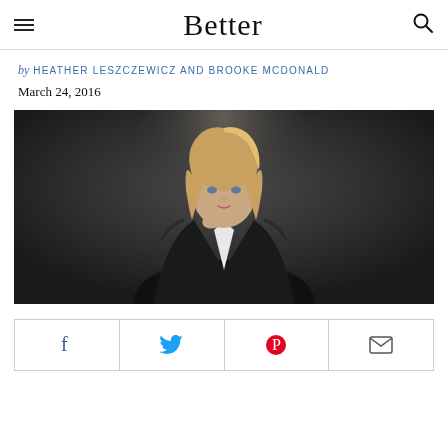Better
by HEATHER LESZCZEWICZ AND BROOKE MCDONALD
March 24, 2016
[Figure (photo): A blonde woman in a black leather jacket against a dark background, posing with her chin resting on her hand.]
[Figure (infographic): Social sharing bar with Facebook, Twitter, Pinterest, and email icons.]